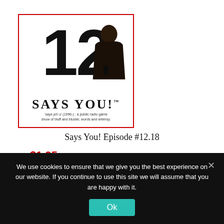[Figure (illustration): Says You! Episode #12 album/podcast cover art. Large bold number '12' in black with a man's silhouette visible through the number. Below reads 'SAYS YOU!' in bold serif text. Small tagline text below: 'Says You! (1996-) : a public radio game show of bluff and bluster, words and whimsy.' The cover has a thin red border.]
Says You! Episode #12.18
$1.95
We use cookies to ensure that we give you the best experience on our website. If you continue to use this site we will assume that you are happy with it.